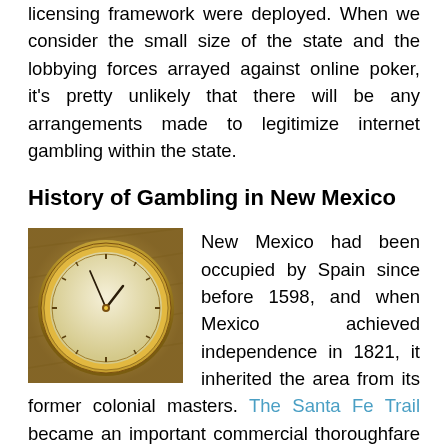licensing framework were deployed. When we consider the small size of the state and the lobbying forces arrayed against online poker, it's pretty unlikely that there will be any arrangements made to legitimize internet gambling within the state.
History of Gambling in New Mexico
[Figure (photo): A golden compass or pocket watch resting on a textured golden/brown surface.]
New Mexico had been occupied by Spain since before 1598, and when Mexico achieved independence in 1821, it inherited the area from its former colonial masters. The Santa Fe Trail became an important commercial thoroughfare for both the United States and Mexico in the nineteenth century, and weary travelers would often stop